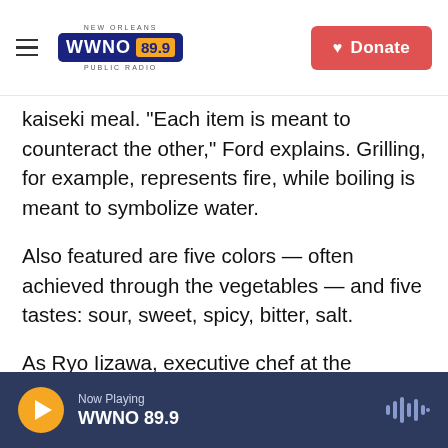NEW ORLEANS WWNO 89.9 PUBLIC RADIO | Donate
kaiseki meal. "Each item is meant to counteract the other," Ford explains. Grilling, for example, represents fire, while boiling is meant to symbolize water.
Also featured are five colors — often achieved through the vegetables — and five tastes: sour, sweet, spicy, bitter, salt.
As Ryo Iizawa, executive chef at the Embassy of Japan in Washington, D.C., puts it, "The yum comes from the blend and balance of flavors."
Now Playing WWNO 89.9